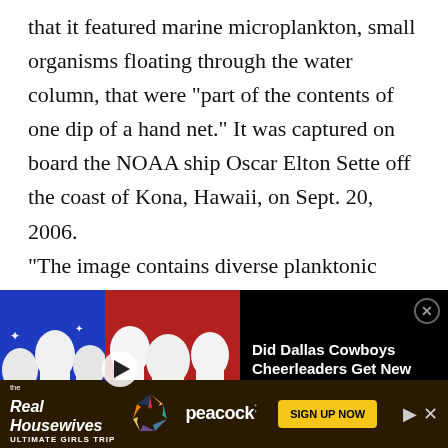that it featured marine microplankton, small organisms floating through the water column, that were “part of the contents of one dip of a hand net.” It was captured on board the NOAA ship Oscar Elton Sette off the coast of Kona, Hawaii, on Sept. 20, 2006.
“The image contains diverse planktonic organisms, ranging from photosynthetic
[Figure (screenshot): A video thumbnail showing people in blue and red handmaid costumes with white bonnets, overlaid with a text panel reading 'Did Dallas Cowboys Cheerleaders Get New ‘Handmaid’ Uniforms?' on a black background with a close button.]
[Figure (screenshot): An advertisement banner for 'The Real Housewives Ultimate Girls Trip' on Peacock streaming, with a yellow 'SIGN UP NOW' button.]